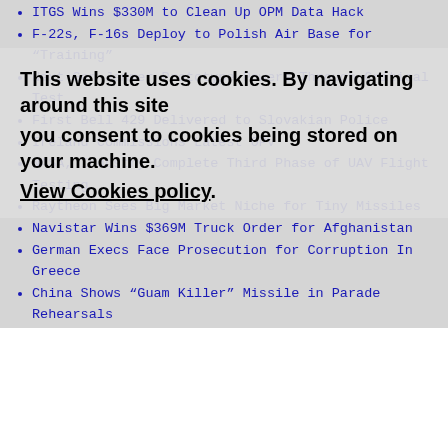ITGS Wins $330M to Clean Up OPM Data Hack
F-22s, F-16s Deploy to Polish Air Base for "Training"
Next Gen Jammer Prototype Powers Through Critical Test
First Bell 429 Delivered to Slovakian Police
Ireland Commissions Latest OPV
NASA, Industry Complete Third Phase of UAV Flight Testing
Raytheon Sees Big Market Niche for Tiny Missiles
Navistar Wins $369M Truck Order for Afghanistan
German Execs Face Prosecution for Corruption In Greece
China Shows "Guam Killer" Missile in Parade Rehearsals
This website uses cookies. By navigating around this site you consent to cookies being stored on your machine. View Cookies policy.
Comparative Analysis of Chinese Strategy and Military Modernization
Hungary Takes Over Lead Role In Baltic Air Policing
US Army Ordered to Pay KBR's Legal Expenses
Russian Aircraft Near UK Airspace
Progeny Wins $45M for Mk48 Multi-Band Sonar System
Russia Building Airstrip At Syrian Airport
India's PSLV Launches Astrosat Space Observatory
Italy's Avio Aero Joins Platform for Unmanned Cargo Aircraft
Rolls-Royce Wins £280M Loan from Euro Investment Bank
USAF Focus on Communications Links that Drive UAV Ops
MIDCAS Results Advance UAV Air Traffic Integration
Boeing KC-46 Tanker Faces Growing Technical Hitches
Rosoboronexport Touts Russian Arms Show
Why A-10 Matters: Video Shows 'Hawg' Ops In Afghanistan
Finland Approves Naval Plan, Will Build New Corvettes
Two F-22 Fighters Make Day Trip to Estonia